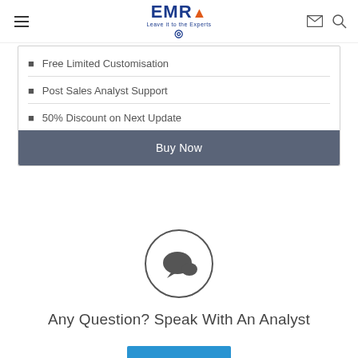EMR — Leave it to the Experts
Free Limited Customisation
Post Sales Analyst Support
50% Discount on Next Update
Buy Now
[Figure (illustration): Circle with chat/speech bubble icon inside]
Any Question? Speak With An Analyst